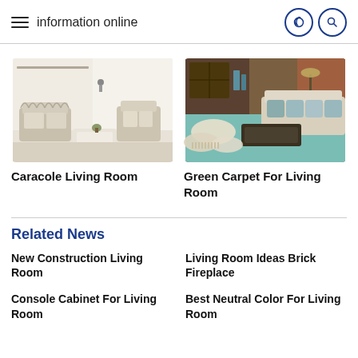information online
[Figure (photo): Living room with white/cream sofas and ornate chair frames, bright interior]
Caracole Living Room
[Figure (photo): Living room with teal/green carpet, cream sofa, cushions on floor, warm lighting]
Green Carpet For Living Room
Related News
New Construction Living Room
Living Room Ideas Brick Fireplace
Console Cabinet For Living Room
Best Neutral Color For Living Room